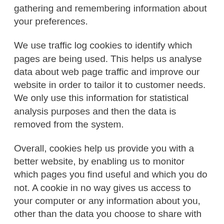gathering and remembering information about your preferences.
We use traffic log cookies to identify which pages are being used. This helps us analyse data about web page traffic and improve our website in order to tailor it to customer needs. We only use this information for statistical analysis purposes and then the data is removed from the system.
Overall, cookies help us provide you with a better website, by enabling us to monitor which pages you find useful and which you do not. A cookie in no way gives us access to your computer or any information about you, other than the data you choose to share with us.
You can choose to accept or decline cookies. Most web browsers automatically accept cookies, but you can usually modify your browser setting to decline cookies if you prefer. This may prevent you from